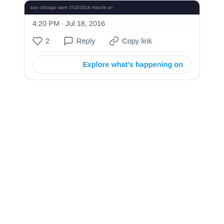[Figure (screenshot): Dark header image strip from a tweet, showing partial text content in dark background]
4:20 PM · Jul 18, 2016
♡ 2   Reply   Copy link
Explore what's happening on